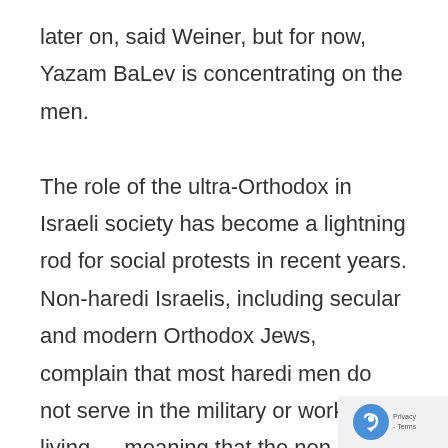later on, said Weiner, but for now, Yazam BaLev is concentrating on the men.

The role of the ultra-Orthodox in Israeli society has become a lightning rod for social protests in recent years. Non-haredi Israelis, including secular and modern Orthodox Jews, complain that most haredi men do not serve in the military or work for a living — meaning that the non-haredi sectors have to support them. Some haredi leaders have become convinced that they need to change the focus of their community from full-time religious studies
[Figure (other): reCAPTCHA privacy badge with blue circular arrow icon and 'Privacy - Terms' text]